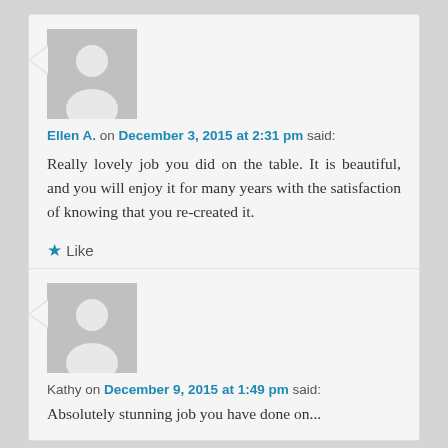[Figure (illustration): Default avatar placeholder — grey rounded square with white silhouette of a person]
Ellen A. on December 3, 2015 at 2:31 pm said:
Really lovely job you did on the table. It is beautiful, and you will enjoy it for many years with the satisfaction of knowing that you re-created it.
★ Like
Reply ↓
[Figure (illustration): Default avatar placeholder — grey rounded square with white silhouette of a person]
Kathy on December 9, 2015 at 1:49 pm said:
Absolutely stunning job you have done on...